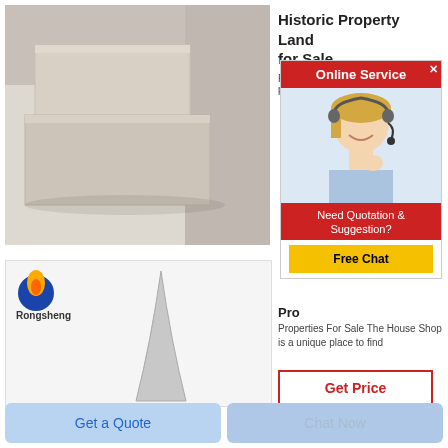[Figure (photo): Photo of two rectangular white/beige firebricks or refractory bricks stacked on a light surface]
[Figure (photo): Photo showing a Rongsheng brand logo (blue circle with flame) and a cone-shaped refractory product]
Historic Property Land for Sale
From... previ...
[Figure (screenshot): Online Service popup with red header 'Online Service', image of a woman with headset, text 'Need Quotation & Suggestion?' and yellow 'Free Chat' button]
Pro...
Properties For Sale The House Shop is a unique place to find
Get Price
Get a Quote
Chat Now